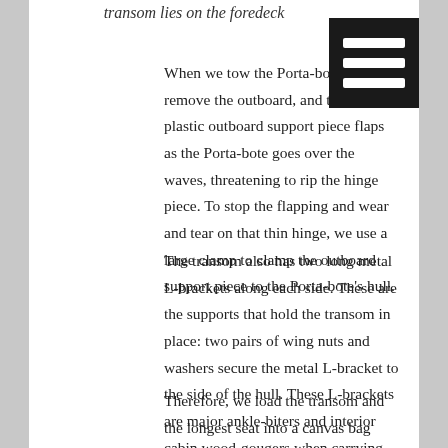transom lies on the foredeck
[Figure (other): Black menu/hamburger icon button with three horizontal white lines on dark background, positioned top right]
When we tow the Porta-bote, we remove the outboard, and then the plastic outboard support piece flaps as the Porta-bote goes over the waves, threatening to rip the hinge piece. To stop the flapping and wear and tear on that thin hinge, we use a large clamp to clamp the outboard support piece to the Porta-bote's hull.
The transom also has two long metal L-brackets along each side. These are the supports that hold the transom in place: two pairs of wing nuts and washers secure the metal L-bracket to the side of the hull. These L-brackets are major ankle-biters and interior cabin wood-gougers when carrying the transom around.
Therefore, we load the transom and the longest seat into a canvas bag before lugging them anywhere — the flopping legs on the seat are held in place, the flopping outboard engine mounting piece is held in place, and the